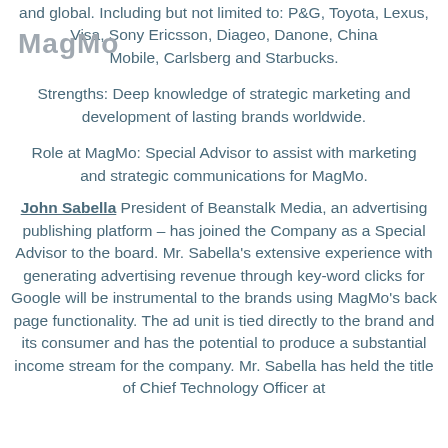MagMo
and global. Including but not limited to: P&G, Toyota, Lexus, Visa, Sony Ericsson, Diageo, Danone, China Mobile, Carlsberg and Starbucks.
Strengths: Deep knowledge of strategic marketing and development of lasting brands worldwide.
Role at MagMo: Special Advisor to assist with marketing and strategic communications for MagMo.
John Sabella President of Beanstalk Media, an advertising publishing platform – has joined the Company as a Special Advisor to the board. Mr. Sabella's extensive experience with generating advertising revenue through key-word clicks for Google will be instrumental to the brands using MagMo's back page functionality. The ad unit is tied directly to the brand and its consumer and has the potential to produce a substantial income stream for the company. Mr. Sabella has held the title of Chief Technology Officer at